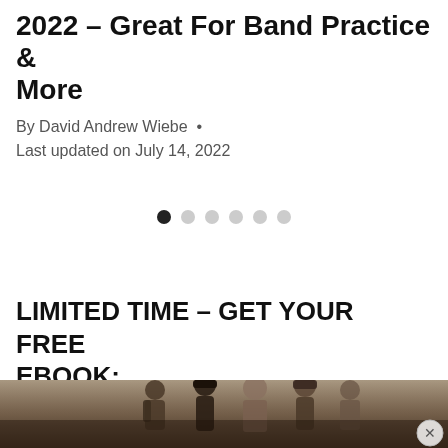2022 – Great For Band Practice & More
By David Andrew Wiebe  •  Last updated on July 14, 2022
[Figure (other): Carousel navigation dots — one filled black dot followed by five light grey dots, indicating slide 1 of 6]
LIMITED TIME – GET YOUR FREE EBOOK:
[Figure (photo): Partial photo of a group of young people, appearing to be musicians or students, cropped at the bottom of the page. An X close button appears in the bottom right corner.]